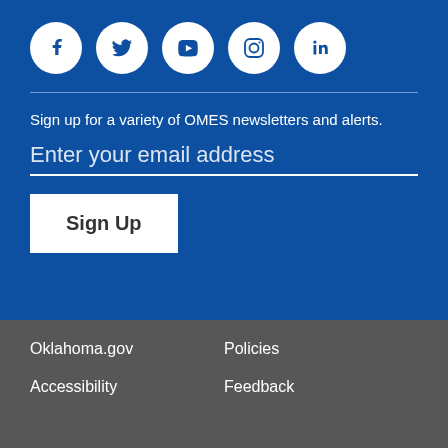[Figure (other): Social media icons: Facebook, Twitter, YouTube, Instagram, LinkedIn — white circles on blue background]
Sign up for a variety of OMES newsletters and alerts.
Enter your email address
Sign Up
Oklahoma.gov | Policies | Accessibility | Feedback